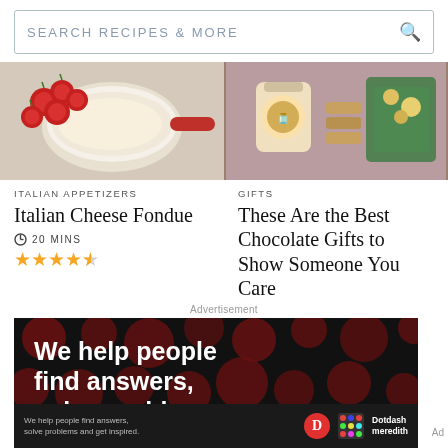[Figure (screenshot): Search bar with text SEARCH RECIPES & MORE and a magnifying glass icon]
[Figure (photo): Italian cheese fondue with cherry tomatoes on a cutting board]
ITALIAN APPETIZERS
Italian Cheese Fondue
20 MINS
★★★★½ (star rating)
[Figure (photo): Chocolate gifts including a jar with label and other items on colorful background]
GIFTS
These Are the Best Chocolate Gifts to Show Someone You Care
Advertisement
[Figure (other): Advertisement banner with dark background and red dots pattern. Text: We help people find answers, solve problems. Footer: We help people find answers, solve problems and get inspired. Dotdash meredith logo.]